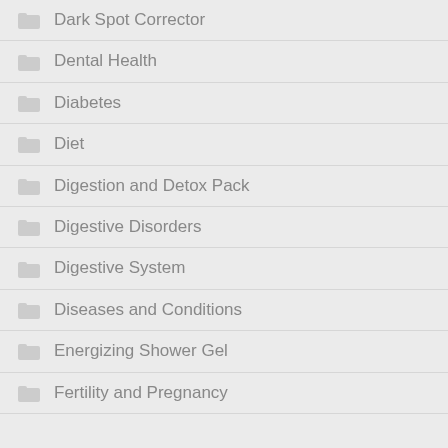Dark Spot Corrector
Dental Health
Diabetes
Diet
Digestion and Detox Pack
Digestive Disorders
Digestive System
Diseases and Conditions
Energizing Shower Gel
Fertility and Pregnancy